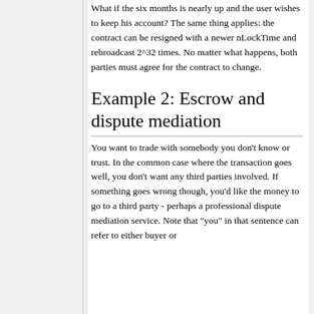What if the six months is nearly up and the user wishes to keep his account? The same thing applies: the contract can be resigned with a newer nLockTime and rebroadcast 2^32 times. No matter what happens, both parties must agree for the contract to change.
Example 2: Escrow and dispute mediation
You want to trade with somebody you don't know or trust. In the common case where the transaction goes well, you don't want any third parties involved. If something goes wrong though, you'd like the money to go to a third party - perhaps a professional dispute mediation service. Note that "you" in that sentence can refer to either buyer or